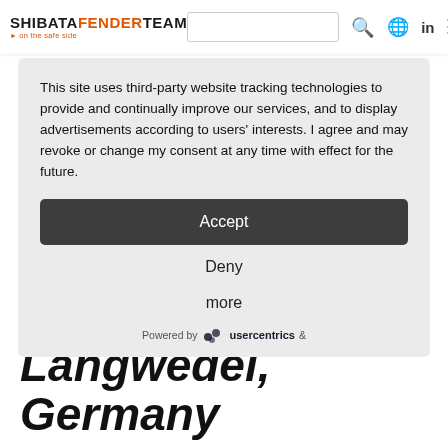SHIBATAFENDERTEAM · on the safe side
This site uses third-party website tracking technologies to provide and continually improve our services, and to display advertisements according to users' interests. I agree and may revoke or change my consent at any time with effect for the future.
Accept
Deny
more
Powered by usercentrics &
river lock at Langwedel, Germany